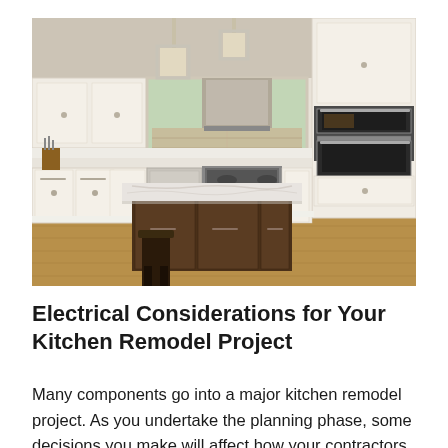[Figure (photo): Interior photo of a modern remodeled kitchen with white shaker cabinets, marble-top kitchen island with dark wood base and barstools, stainless steel appliances including double wall oven and range, pendant lights, and hardwood floors.]
Electrical Considerations for Your Kitchen Remodel Project
Many components go into a major kitchen remodel project. As you undertake the planning phase, some decisions you make will affect how your contractors wire